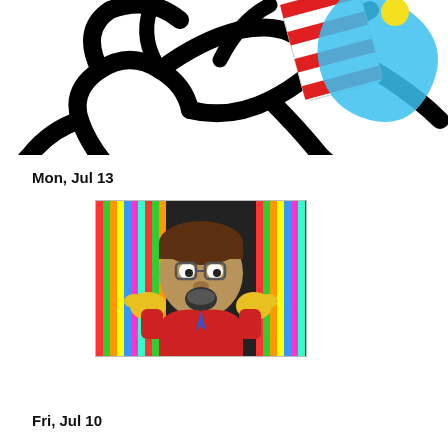[Figure (illustration): Cartoon/doodle illustration with bold black line drawing of a character, with colorful elements including red and white stripes, blue shapes, and yellow detail on a white background.]
Mon, Jul 13
[Figure (photo): Photo of a cartoon-style animated character with a round face, brown hair, glasses, open mouth, yellow gloves raised up, wearing a red jacket and blue tie, against a colorful streamer background.]
Fri, Jul 10